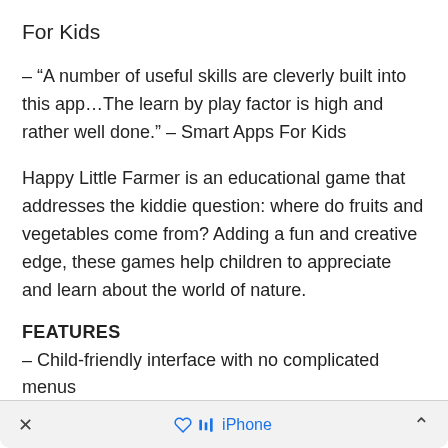For Kids
– “A number of useful skills are cleverly built into this app…The learn by play factor is high and rather well done.” – Smart Apps For Kids
Happy Little Farmer is an educational game that addresses the kiddie question: where do fruits and vegetables come from? Adding a fun and creative edge, these games help children to appreciate and learn about the world of nature.
FEATURES
– Child-friendly interface with no complicated menus
– An original soundtrack comprising of favorite
×    iPhone    ⌃